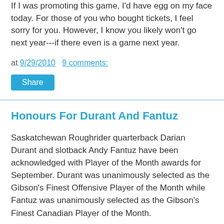If I was promoting this game, I'd have egg on my face today. For those of you who bought tickets, I feel sorry for you. However, I know you likely won't go next year---if there even is a game next year.
at 9/29/2010   9 comments:
Share
Honours For Durant And Fantuz
Saskatchewan Roughrider quarterback Darian Durant and slotback Andy Fantuz have been acknowledged with Player of the Month awards for September. Durant was unanimously selected as the Gibson's Finest Offensive Player of the Month while Fantuz was unanimously selected as the Gibson's Finest Canadian Player of the Month.
Durant wrapped up the month of September with a stellar